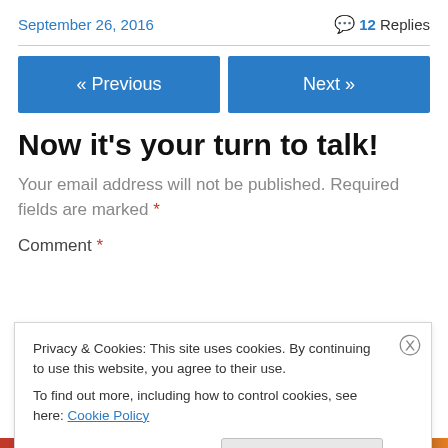September 26, 2016
💬 12 Replies
« Previous   Next »
Now it's your turn to talk!
Your email address will not be published. Required fields are marked *
Comment *
Privacy & Cookies: This site uses cookies. By continuing to use this website, you agree to their use.
To find out more, including how to control cookies, see here: Cookie Policy